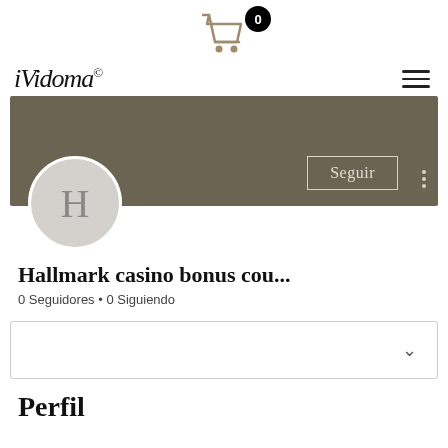[Figure (screenshot): Shopping cart icon with badge showing 0]
[Figure (logo): iVidoma copyright logo in italic handwritten style]
[Figure (screenshot): Profile banner in olive/taupe color with Seguir button and three-dots menu, H avatar circle]
Hallmark casino bonus cou...
0 Seguidores • 0 Siguiendo
[Figure (screenshot): Dropdown box with chevron]
Perfil